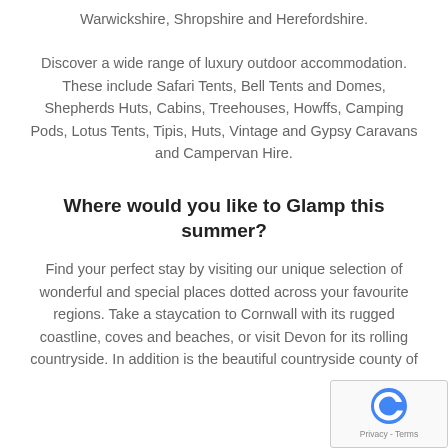Warwickshire, Shropshire and Herefordshire.
Discover a wide range of luxury outdoor accommodation. These include Safari Tents, Bell Tents and Domes, Shepherds Huts, Cabins, Treehouses, Howffs, Camping Pods, Lotus Tents, Tipis, Huts, Vintage and Gypsy Caravans and Campervan Hire.
Where would you like to Glamp this summer?
Find your perfect stay by visiting our unique selection of wonderful and special places dotted across your favourite regions. Take a staycation to Cornwall with its rugged coastline, coves and beaches, or visit Devon for its rolling countryside. In addition is the beautiful countryside county of